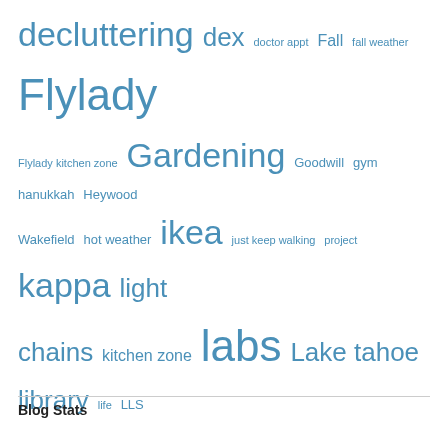[Figure (infographic): Tag cloud with words in varying sizes and blue color, representing blog topics. Larger words appear more frequently. Words include: decluttering, dex, doctor appt, Fall, fall weather, Flylady, Flylady kitchen zone, Gardening, Goodwill, gym, hanukkah, Heywood Wakefield, hot weather, ikea, just keep walking, project, kappa, light chains, kitchen zone, labs, Lake tahoe, library, life, LLS, medicare, menus, minimalism, money, M protein, Myeloma, painting, Pizza, pizza night, prepper pantry, project cooking thru my cookbooks, rain, reading, Retirement, revlimid, Santa Barbara, simplicity, simplifying, snow, sourdough bread, Sunday night chit chat, swimming, tahoe, Tartine bread, taxes, Thanksgiving, trader joes, tree removal, Truckee, trump, velcade, Walking, winco, wind, YNAB, zometa]
Blog Stats